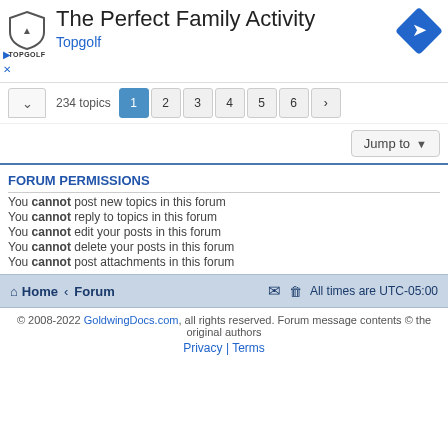[Figure (advertisement): Topgolf ad banner with shield logo, heading 'The Perfect Family Activity', subheading 'Topgolf', and a blue diamond direction arrow icon on the right]
234 topics  1 2 3 4 5 6 >
Jump to
FORUM PERMISSIONS
You cannot post new topics in this forum
You cannot reply to topics in this forum
You cannot edit your posts in this forum
You cannot delete your posts in this forum
You cannot post attachments in this forum
Home · Forum    All times are UTC-05:00
© 2008-2022 GoldwingDocs.com, all rights reserved. Forum message contents © the original authors
Privacy | Terms